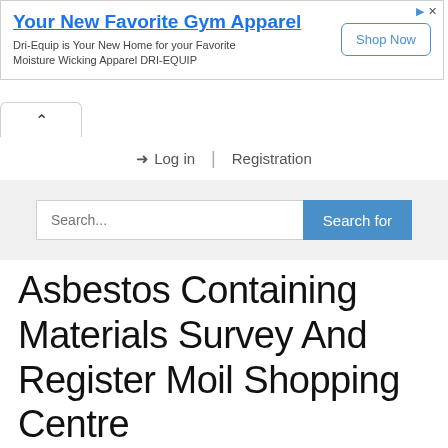[Figure (screenshot): Advertisement banner for Dri-Equip gym apparel with title 'Your New Favorite Gym Apparel', subtitle text, and a 'Shop Now' button]
[Figure (screenshot): Navigation tab with upward chevron arrow]
➔ Log in | Registration
[Figure (screenshot): Search bar with placeholder 'Search...' and blue 'Search for' button on grey background]
Asbestos Containing Materials Survey And Register Moil Shopping Centre